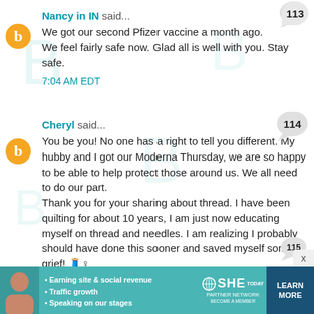113
Nancy in IN said...
We got our second Pfizer vaccine a month ago. We feel fairly safe now. Glad all is well with you. Stay safe.
7:04 AM EDT
114
Cheryl said...
You be you! No one has a right to tell you different. My hubby and I got our Moderna Thursday, we are so happy to be able to help protect those around us. We all need to do our part.
Thank you for your sharing about thread. I have been quilting for about 10 years, I am just now educating myself on thread and needles. I am realizing I probably should have done this sooner and saved myself some grief! 🧵
7:13 AM EDT
115 (partial)
[Figure (advertisement): SHE Partner Network ad banner with woman photo, bullet points: Earning site & social revenue, Traffic growth, Speaking on our stages. SHE logo and LEARN MORE button.]